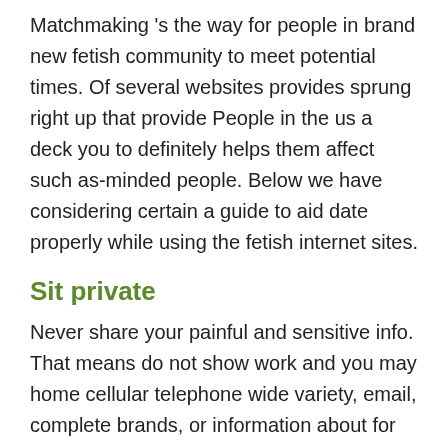Matchmaking 's the way for people in brand new fetish community to meet potential times. Of several websites provides sprung right up that provide People in the us a deck you to definitely helps them affect such as-minded people. Below we have considering certain a guide to aid date properly while using the fetish internet sites.
Sit private
Never share your painful and sensitive info. That means do not show work and you may home cellular telephone wide variety, email, complete brands, or information about for which you alive.